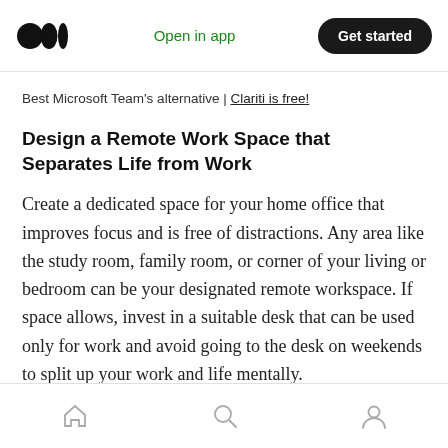Medium logo | Open in app | Get started
Best Microsoft Team's alternative | Clariti is free!
Design a Remote Work Space that Separates Life from Work
Create a dedicated space for your home office that improves focus and is free of distractions. Any area like the study room, family room, or corner of your living or bedroom can be your designated remote workspace. If space allows, invest in a suitable desk that can be used only for work and avoid going to the desk on weekends to split up your work and life mentally.
Home | Search | Profile